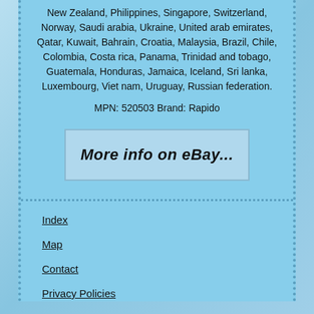New Zealand, Philippines, Singapore, Switzerland, Norway, Saudi arabia, Ukraine, United arab emirates, Qatar, Kuwait, Bahrain, Croatia, Malaysia, Brazil, Chile, Colombia, Costa rica, Panama, Trinidad and tobago, Guatemala, Honduras, Jamaica, Iceland, Sri lanka, Luxembourg, Viet nam, Uruguay, Russian federation.
MPN: 520503 Brand: Rapido
[Figure (other): Button/link styled box with italic handwritten-style text reading 'More info on eBay...']
Index
Map
Contact
Privacy Policies
Terms of service